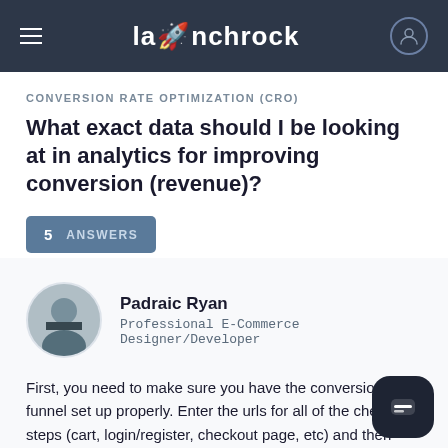launchrock
CONVERSION RATE OPTIMIZATION (CRO)
What exact data should I be looking at in analytics for improving conversion (revenue)?
5  ANSWERS
Padraic Ryan
Professional E-Commerce Designer/Developer
First, you need to make sure you have the conversion funnel set up properly. Enter the urls for all of the checkout steps (cart, login/register, checkout page, etc) and then look at the conversion funnel. This will